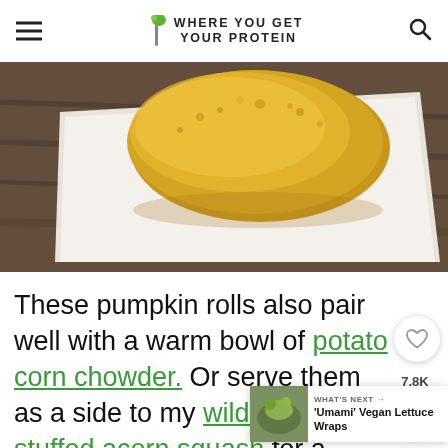WHERE YOU GET YOUR PROTEIN
[Figure (photo): Close-up photo of a golden, crumbly-textured pumpkin roll on a white plate against a dark wood background]
These pumpkin rolls also pair well with a warm bowl of potato corn chowder. Or serve them as a side to my wild rice stuffed acorn squash for a holiday-worthy meal.